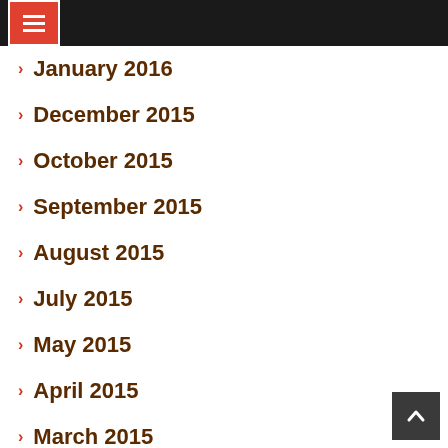January 2016
December 2015
October 2015
September 2015
August 2015
July 2015
May 2015
April 2015
March 2015
February 2015
December 2014